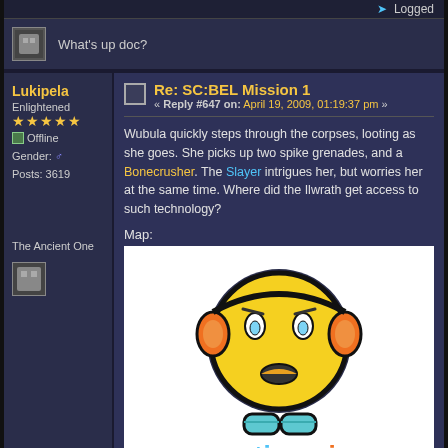Logged
What's up doc?
Lukipela
Enlightened
★★★★★
Offline
Gender: ♂
Posts: 3619
Re: SC:BEL Mission 1
« Reply #647 on: April 19, 2009, 01:19:37 pm »
Wubula quickly steps through the corpses, looting as she goes. She picks up two spike grenades, and a Bonecrusher. The Slayer intrigues her, but worries her at the same time. Where did the Ilwrath get access to such technology?
Map:
[Figure (illustration): Tinypic.com image placeholder showing a worried yellow smiley face emoji with orange headphones and teal shoes, with the 'tinypic' logo below in colorful letters]
The Ancient One